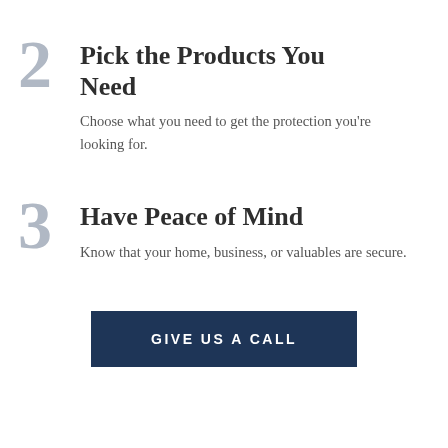2 Pick the Products You Need
Choose what you need to get the protection you're looking for.
3 Have Peace of Mind
Know that your home, business, or valuables are secure.
GIVE US A CALL